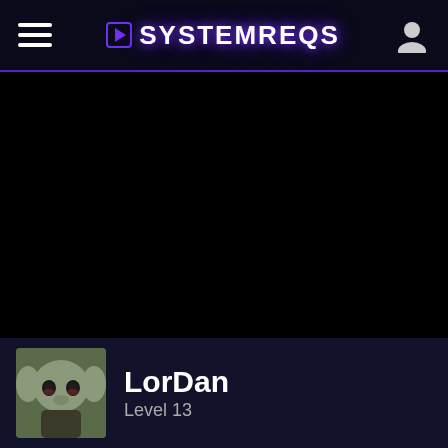SystemReqs
[Figure (screenshot): Dark/black main content area of the SystemReqs website]
LorDan
Level 13